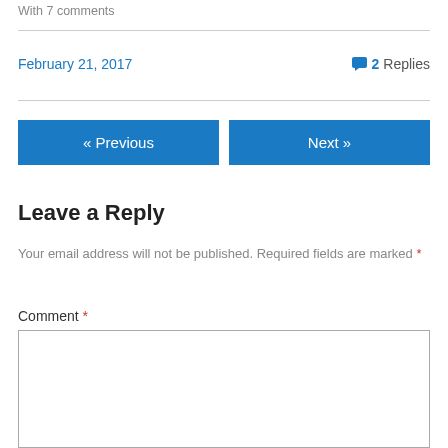With 7 comments
February 21, 2017    💬 2 Replies
« Previous
Next »
Leave a Reply
Your email address will not be published. Required fields are marked *
Comment *